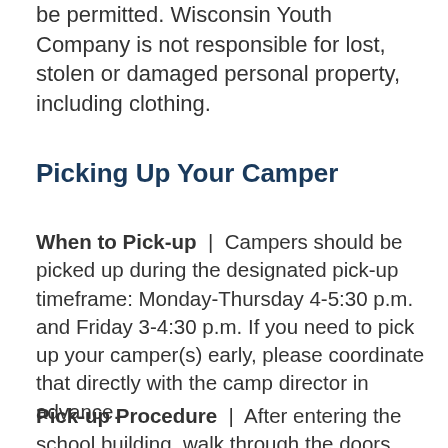be permitted. Wisconsin Youth Company is not responsible for lost, stolen or damaged personal property, including clothing.
Picking Up Your Camper
When to Pick-up | Campers should be picked up during the designated pick-up timeframe: Monday-Thursday 4-5:30 p.m. and Friday 3-4:30 p.m. If you need to pick up your camper(s) early, please coordinate that directly with the camp director in advance.
Pick-up Procedure | After entering the school building, walk through the doors and